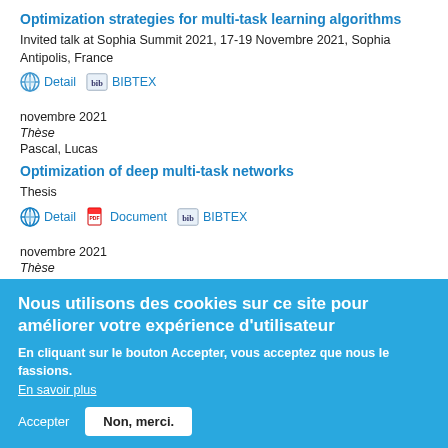Optimization strategies for multi-task learning algorithms
Invited talk at Sophia Summit 2021, 17-19 Novembre 2021, Sophia Antipolis, France
Detail   BIBTEX
novembre 2021
Thèse
Pascal, Lucas
Optimization of deep multi-task networks
Thesis
Detail   Document   BIBTEX
novembre 2021
Thèse
Schmidt, Robert
Slicing in heteroge...adio access
[Figure (screenshot): Tooltip popup with text: Paramètres de confidentialité]
Nous utilisons des cookies sur ce site pour améliorer votre expérience d'utilisateur
En cliquant sur le bouton Accepter, vous acceptez que nous le fassions.
En savoir plus
Accepter   Non, merci.